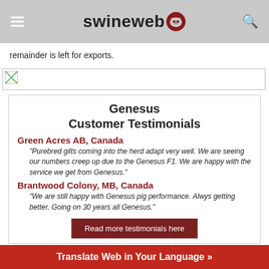swineweb
remainder is left for exports.
[Figure (other): Broken image placeholder]
Genesus Customer Testimonials
Green Acres AB, Canada
"Purebred gilts coming into the herd adapt very well. We are seeing our numbers creep up due to the Genesus F1. We are happy with the service we get from Genesus."
Brantwood Colony, MB, Canada
"We are still happy with Genesus pig performance. Alwys getting better. Going on 30 years all Genesus."
Read more testimonials here
Translate Web in Your Language »